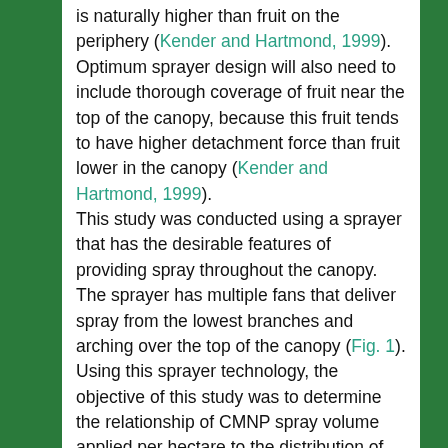is naturally higher than fruit on the periphery (Kender and Hartmond, 1999). Optimum sprayer design will also need to include thorough coverage of fruit near the top of the canopy, because this fruit tends to have higher detachment force than fruit lower in the canopy (Kender and Hartmond, 1999).

This study was conducted using a sprayer that has the desirable features of providing spray throughout the canopy. The sprayer has multiple fans that deliver spray from the lowest branches and arching over the top of the canopy (Fig. 1). Using this sprayer technology, the objective of this study was to determine the relationship of CMNP spray volume applied per hectare to the distribution of spray and fruit loosening in the canopy and percent crop removed by mechanical harvesters. The relationships were determined under the most challenging grove conditions by using fully mature trees with full canopies.